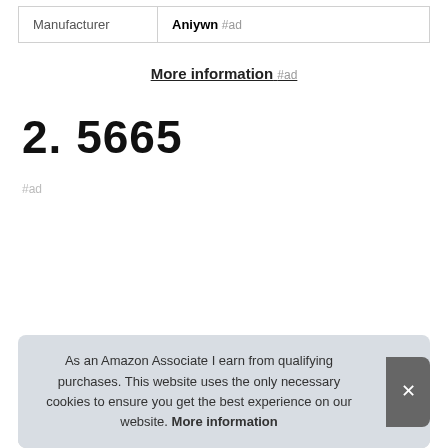| Manufacturer |  |
| --- | --- |
| Manufacturer | Aniywn #ad |
More information #ad
2. 5665
#ad
As an Amazon Associate I earn from qualifying purchases. This website uses the only necessary cookies to ensure you get the best experience on our website. More information